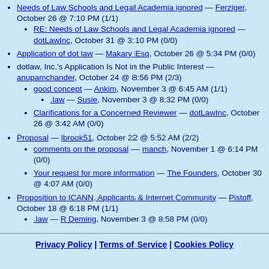Needs of Law Schools and Legal Academia ignored — Ferziger, October 26 @ 7:10 PM (1/1)
RE: Needs of Law Schools and Legal Academia ignored — dotLawInc, October 31 @ 3:10 PM (0/0)
Application of dot law — Makary Esq, October 26 @ 5:34 PM (0/0)
dotlaw, Inc.'s Application Is Not in the Public Interest — anupamchander, October 24 @ 8:56 PM (2/3)
good concept — Ankim, November 3 @ 6:45 AM (1/1)
.law — Susie, November 3 @ 8:32 PM (0/0)
Clarifications for a Concerned Reviewer — dotLawInc, October 26 @ 3:42 AM (0/0)
Proposal — lbrook51, October 22 @ 5:52 AM (2/2)
comments on the proposal — manch, November 1 @ 6:14 PM (0/0)
Your request for more information — The Founders, October 30 @ 4:07 AM (0/0)
Proposition to ICANN, Applicants & Internet Community — Pistoff, October 18 @ 6:18 PM (1/1)
.law — R Deming, November 3 @ 8:58 PM (0/0)
Privacy Policy | Terms of Service | Cookies Policy